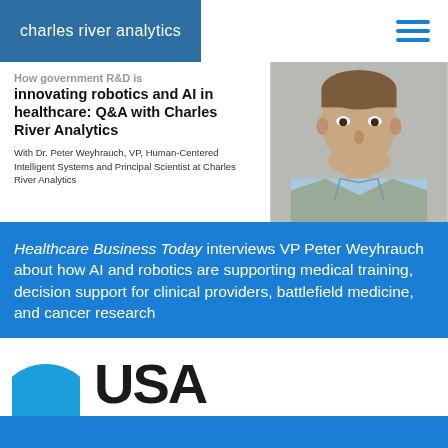charles river analytics
How government R&D is innovating robotics and AI in healthcare: Q&A with Charles River Analytics
With Dr. Peter Weyhrauch, VP, Human-Centered Intelligent Systems and Principal Scientist at Charles River Analytics
[Figure (photo): Portrait photo of Dr. Peter Weyhrauch, a man in a grey blazer and light blue shirt, smiling]
Healthcare Business Today interviews VP Peter Weyhrauch about how AI and robotics are supporting medical training, decision support for clinical providers, battlefield medicine, and cancer research
[Figure (logo): Partial view of USA Today logo with blue circle and USA text in bold]